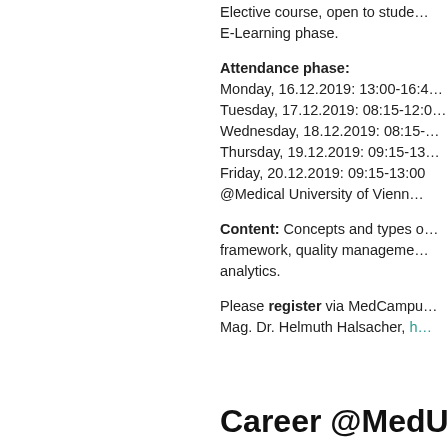Elective course, open to stude… E-Learning phase.
Attendance phase: Monday, 16.12.2019: 13:00-16:4… Tuesday, 17.12.2019: 08:15-12:0… Wednesday, 18.12.2019: 08:15-… Thursday, 19.12.2019: 09:15-13… Friday, 20.12.2019: 09:15-13:00 @Medical University of Vienn…
Content: Concepts and types o… framework, quality manageme… analytics.
Please register via MedCampu… Mag. Dr. Helmuth Halsacher, h…
Career @MedUni Wi…